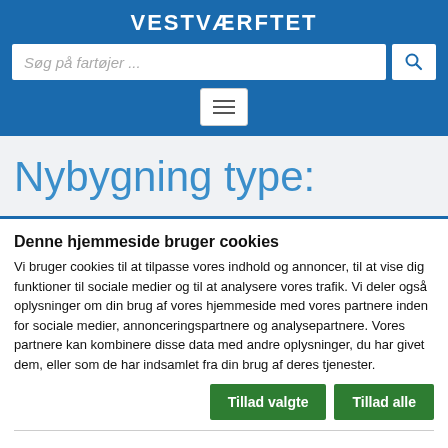VESTVÆRFTET
Søg på fartøjer ...
Nybygning type:
Denne hjemmeside bruger cookies
Vi bruger cookies til at tilpasse vores indhold og annoncer, til at vise dig funktioner til sociale medier og til at analysere vores trafik. Vi deler også oplysninger om din brug af vores hjemmeside med vores partnere inden for sociale medier, annonceringspartnere og analysepartnere. Vores partnere kan kombinere disse data med andre oplysninger, du har givet dem, eller som de har indsamlet fra din brug af deres tjenester.
Tillad valgte
Tillad alle
Nødvendig
Præferencer
Statistik
Marketing
Vis detaljer